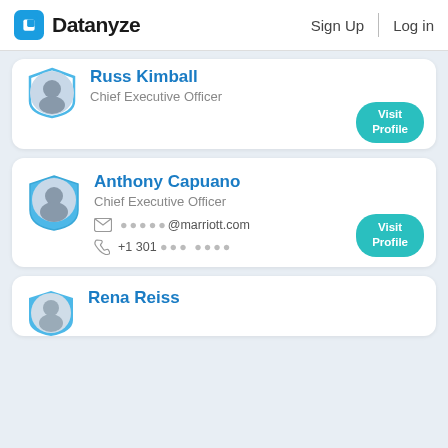Datanyze | Sign Up | Log in
Russ Kimball
Chief Executive Officer
Visit Profile
Anthony Capuano
Chief Executive Officer
✉ ●●●●●@marriott.com
☎ +1 301 ●●● ●●●●
Visit Profile
Rena Reiss